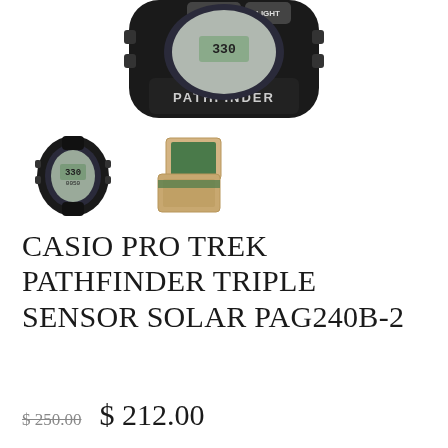[Figure (photo): Top portion shows a close-up of Casio Pro Trek Pathfinder watch face from above showing ADJUST and LIGHT buttons and PATHFINDER label on the band. Below are two thumbnail images: the full watch on the left and a small wooden box (packaging) on the right.]
CASIO PRO TREK PATHFINDER TRIPLE SENSOR SOLAR PAG240B-2
$ 250.00   $ 212.00